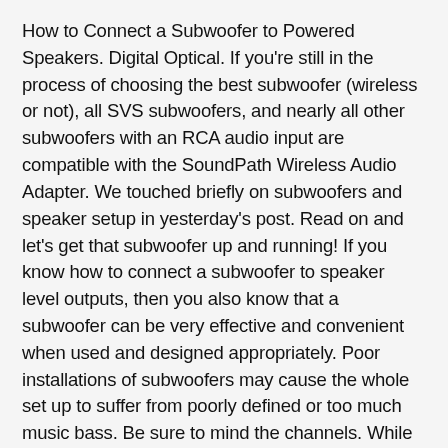How to Connect a Subwoofer to Powered Speakers. Digital Optical. If you're still in the process of choosing the best subwoofer (wireless or not), all SVS subwoofers, and nearly all other subwoofers with an RCA audio input are compatible with the SoundPath Wireless Audio Adapter. We touched briefly on subwoofers and speaker setup in yesterday's post. Read on and let's get that subwoofer up and running! If you know how to connect a subwoofer to speaker level outputs, then you also know that a subwoofer can be very effective and convenient when used and designed appropriately. Poor installations of subwoofers may cause the whole set up to suffer from poorly defined or too much music bass. Be sure to mind the channels. While it's pretty clear that you want all of your speakers in the system to be extended (or pushing) together it's not as clear which way to set this control as you can't be sure if the signal to the subwoofer has been inverted by the device that is sending the signal nor can you be sure what affects the room and subwoofer placement has imposed on the subwoofer's acoustics with respect to the phase. Great! Connect it to the front right and left speaker terminals of the receiver. Speaker Level Inputs – These inputs accept speaker level signals from